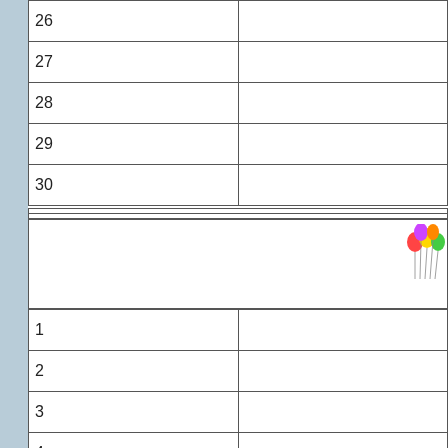| 26 |  |
| 27 |  |
| 28 |  |
| 29 |  |
| 30 |  |
[Figure (illustration): Colorful balloons decoration in the top-right corner of a banner/notes section]
| 1 |  |
| 2 |  |
| 3 |  |
| 4 |  |
| 5 |  |
| 6 |  |
| 7 |  |
| 8 |  |
| 9 |  |